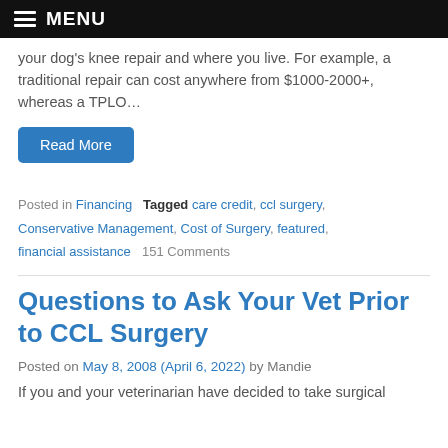MENU
your dog's knee repair and where you live. For example, a traditional repair can cost anywhere from $1000-2000+, whereas a TPLO…
Read More
Posted in Financing  Tagged care credit, ccl surgery, Conservative Management, Cost of Surgery, featured, financial assistance  151 Comments
Questions to Ask Your Vet Prior to CCL Surgery
Posted on May 8, 2008 (April 6, 2022) by Mandie
If you and your veterinarian have decided to take surgical